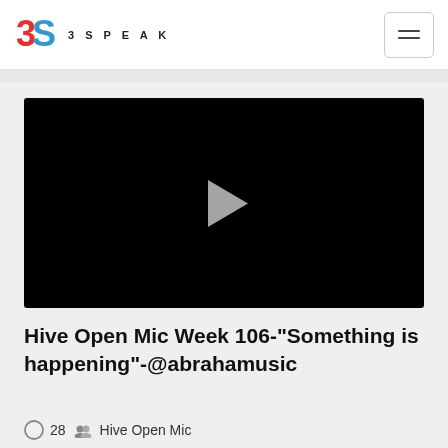3SPEAK
[Figure (screenshot): Video player with black background and a gray play button triangle in the center]
Hive Open Mic Week 106-"Something is happening"-@abrahamusic
28  Hive Open Mic